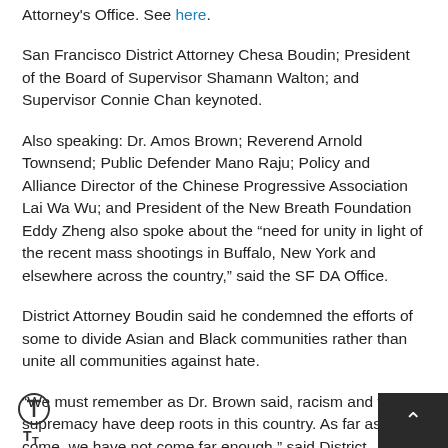Attorney's Office. See here.
San Francisco District Attorney Chesa Boudin; President of the Board of Supervisor Shamann Walton; and Supervisor Connie Chan keynoted.
Also speaking: Dr. Amos Brown; Reverend Arnold Townsend; Public Defender Mano Raju; Policy and Alliance Director of the Chinese Progressive Association Lai Wa Wu; and President of the New Breath Foundation Eddy Zheng also spoke about the “need for unity in light of the recent mass shootings in Buffalo, New York and elsewhere across the country,” said the SF DA Office.
District Attorney Boudin said he condemned the efforts of some to divide Asian and Black communities rather than unite all communities against hate.
“We must remember as Dr. Brown said, racism and white supremacy have deep roots in this country. As far as we come, we have not come far enough,” said District Attorney Boudin.
He added, “We continue to see mass shootings and violence-